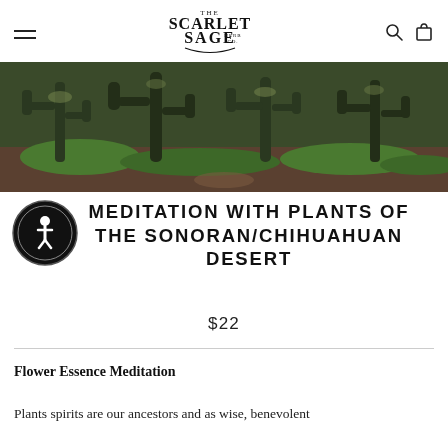The Scarlet Sage Herb Co. — navigation header with hamburger menu, logo, search, and cart icons
[Figure (photo): Wide panoramic photo of a Sonoran/Chihuahuan desert landscape with tall cacti, sparse green grass, rocky soil, and dramatic lighting through dense cactus forest]
MEDITATION WITH PLANTS OF THE SONORAN/CHIHUAHUAN DESERT
$22
Flower Essence Meditation
Plants spirits are our ancestors and as wise, benevolent